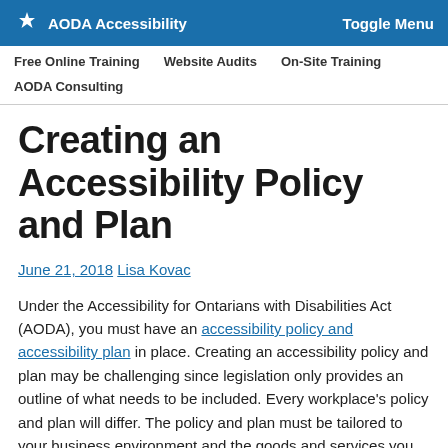AODA Accessibility | Toggle Menu | Free Online Training | Website Audits | On-Site Training | AODA Consulting
Creating an Accessibility Policy and Plan
June 21, 2018 Lisa Kovac
Under the Accessibility for Ontarians with Disabilities Act (AODA), you must have an accessibility policy and accessibility plan in place. Creating an accessibility policy and plan may be challenging since legislation only provides an outline of what needs to be included. Every workplace's policy and plan will differ. The policy and plan must be tailored to your business environment and the goods and services you offer. Below we provide